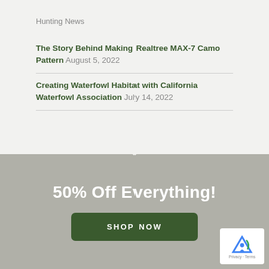Hunting News
The Story Behind Making Realtree MAX-7 Camo Pattern August 5, 2022
Creating Waterfowl Habitat with California Waterfowl Association July 14, 2022
50% Off Everything!
SHOP NOW